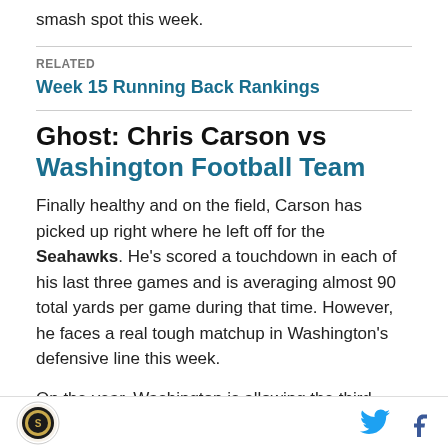smash spot this week.
RELATED
Week 15 Running Back Rankings
Ghost: Chris Carson vs Washington Football Team
Finally healthy and on the field, Carson has picked up right where he left off for the Seahawks. He's scored a touchdown in each of his last three games and is averaging almost 90 total yards per game during that time. However, he faces a real tough matchup in Washington's defensive line this week.
On the year, Washington is allowing the third fewest
[Figure (logo): Sports website logo — circular emblem with decorative design]
[Figure (other): Twitter bird icon and Facebook f icon in the page footer]